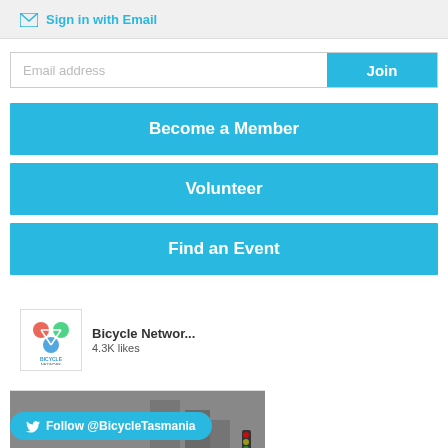Sign in with Email
Email address
Join
Become a Member
Volunteer
Find an Event
[Figure (screenshot): Facebook page widget showing Bicycle Network Tasmania with 4.3K likes and a photo of a cyclist on a road, with a Like Page button]
Follow @BicycleTasmania